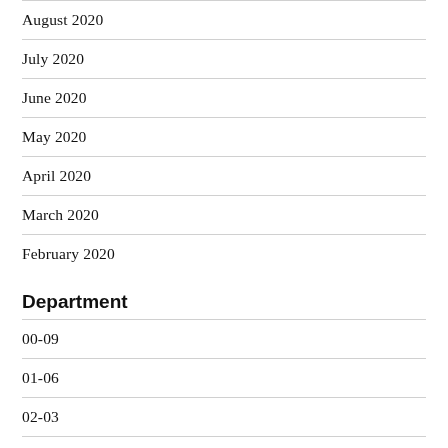August 2020
July 2020
June 2020
May 2020
April 2020
March 2020
February 2020
Department
00-09
01-06
02-03
03-04-05-06-07-08